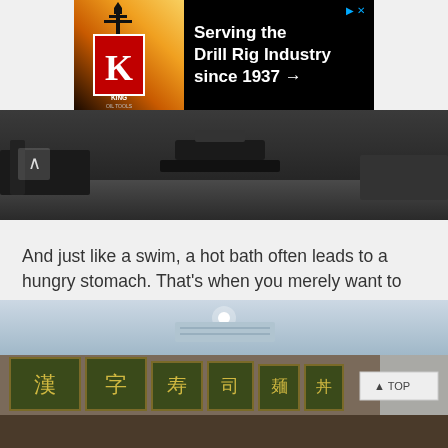[Figure (photo): Advertisement banner for King Oil Tools: 'Serving the Drill Rig Industry since 1937 →' with logo on dark background, showing oil rig at sunset]
[Figure (photo): Gym equipment photo showing treadmills and exercise machines on a carpeted floor, dark tone, with a back/up chevron button visible]
And just like a swim, a hot bath often leads to a hungry stomach. That's when you merely want to step out of the hotel so check out on their Japanese restaurant – Kishin Tei, serving delicious fusion dishes!
[Figure (photo): Interior of Kishin Tei Japanese restaurant showing decorative banners with Japanese text/kanji hanging from ceiling, with a 'TOP' navigation button in the corner]